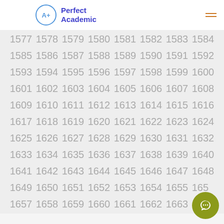Perfect Academic
1577 1578 1579 1580 1581 1582 1583 1584
1585 1586 1587 1588 1589 1590 1591 1592
1593 1594 1595 1596 1597 1598 1599 1600
1601 1602 1603 1604 1605 1606 1607 1608
1609 1610 1611 1612 1613 1614 1615 1616
1617 1618 1619 1620 1621 1622 1623 1624
1625 1626 1627 1628 1629 1630 1631 1632
1633 1634 1635 1636 1637 1638 1639 1640
1641 1642 1643 1644 1645 1646 1647 1648
1649 1650 1651 1652 1653 1654 1655 1656
1657 1658 1659 1660 1661 1662 1663 1664